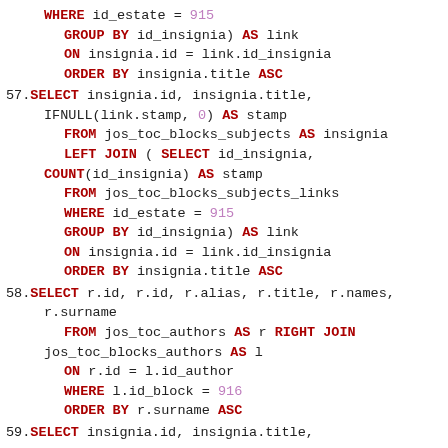WHERE id_estate = 915
    GROUP BY id_insignia) AS link
    ON insignia.id = link.id_insignia
    ORDER BY insignia.title ASC
57. SELECT insignia.id, insignia.title,
    IFNULL(link.stamp, 0) AS stamp
        FROM jos_toc_blocks_subjects AS insignia
        LEFT JOIN ( SELECT id_insignia,
    COUNT(id_insignia) AS stamp
        FROM jos_toc_blocks_subjects_links
        WHERE id_estate = 915
        GROUP BY id_insignia) AS link
        ON insignia.id = link.id_insignia
        ORDER BY insignia.title ASC
58. SELECT r.id, r.id, r.alias, r.title, r.names,
    r.surname
        FROM jos_toc_authors AS r  RIGHT JOIN
    jos_toc_blocks_authors AS l
        ON  r.id = l.id_author
        WHERE l.id_block = 916
        ORDER BY r.surname ASC
59. SELECT insignia.id, insignia.title,